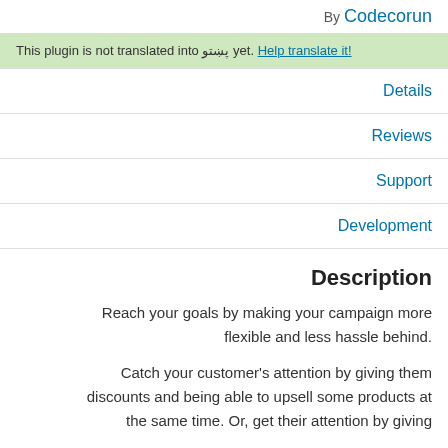By Codecorun
This plugin is not translated into پښتو yet. Help translate it!
Details
Reviews
Support
Development
Description
Reach your goals by making your campaign more flexible and less hassle behind.
Catch your customer's attention by giving them discounts and being able to upsell some products at the same time. Or, get their attention by giving